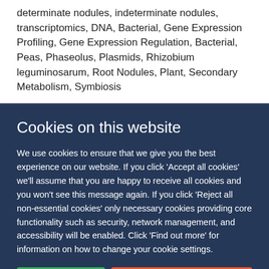determinate nodules, indeterminate nodules, transcriptomics, DNA, Bacterial, Gene Expression Profiling, Gene Expression Regulation, Bacterial, Peas, Phaseolus, Plasmids, Rhizobium leguminosarum, Root Nodules, Plant, Secondary Metabolism, Symbiosis
Cookies on this website
We use cookies to ensure that we give you the best experience on our website. If you click 'Accept all cookies' we'll assume that you are happy to receive all cookies and you won't see this message again. If you click 'Reject all non-essential cookies' only necessary cookies providing core functionality such as security, network management, and accessibility will be enabled. Click 'Find out more' for information on how to change your cookie settings.
Accept all cookies
Reject all non-essential cookies